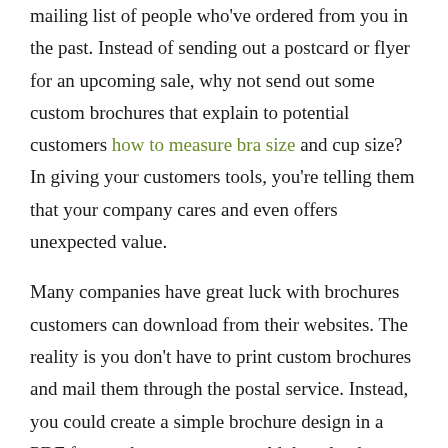mailing list of people who've ordered from you in the past. Instead of sending out a postcard or flyer for an upcoming sale, why not send out some custom brochures that explain to potential customers how to measure bra size and cup size? In giving your customers tools, you're telling them that your company cares and even offers unexpected value.

Many companies have great luck with brochures customers can download from their websites. The reality is you don't have to print custom brochures and mail them through the postal service. Instead, you could create a simple brochure design in a PDF format that customers could download directly to their computer desktops.